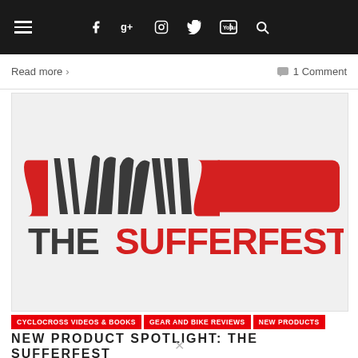Navigation bar with hamburger menu and social icons: Facebook, Google+, Instagram, Twitter, YouTube, Search
Read more ›    💬 1 Comment
[Figure (logo): The Sufferfest logo: stylized dark grey and red cyclist legs/figure above text reading THESUFFERFEST in dark grey and red on white background]
CYCLOCROSS VIDEOS & BOOKS
GEAR AND BIKE REVIEWS
NEW PRODUCTS
NEW PRODUCT SPOTLIGHT: THE SUFFERFEST